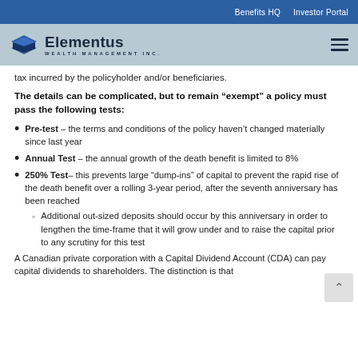Benefits HQ   Investor Portal
[Figure (logo): Elementus Wealth Management Inc. logo with diamond/shield icon]
tax incurred by the policyholder and/or beneficiaries.
The details can be complicated, but to remain "exempt" a policy must pass the following tests:
Pre-test – the terms and conditions of the policy haven't changed materially since last year
Annual Test – the annual growth of the death benefit is limited to 8%
250% Test– this prevents large "dump-ins" of capital to prevent the rapid rise of the death benefit over a rolling 3-year period, after the seventh anniversary has been reached
Additional out-sized deposits should occur by this anniversary in order to lengthen the time-frame that it will grow under and to raise the capital prior to any scrutiny for this test
A Canadian private corporation with a Capital Dividend Account (CDA) can pay capital dividends to shareholders. The distinction is that